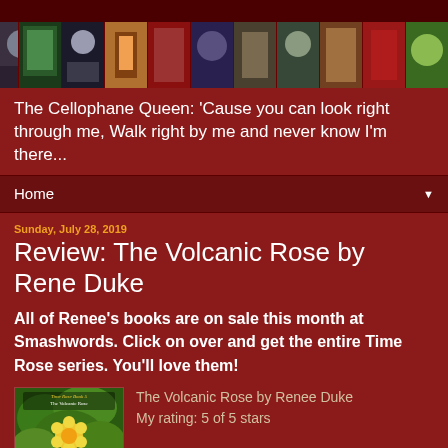[Figure (photo): Header banner with a horizontal strip of book cover thumbnails on a dark red background]
The Cellophane Queen: 'Cause you can look right through me, Walk right by me and never know I'm there...
Home ▼
Sunday, July 28, 2019
Review: The Volcanic Rose by Rene Duke
All of Renee's books are on sale this month at Smashwords. Click on over and get the entire Time Rose series. You'll love them!
[Figure (photo): Book cover for The Volcanic Rose (Time Rose Book 5) showing green foliage and a yellow flower with figures at bottom]
The Volcanic Rose by Renee Duke
My rating: 5 of 5 stars